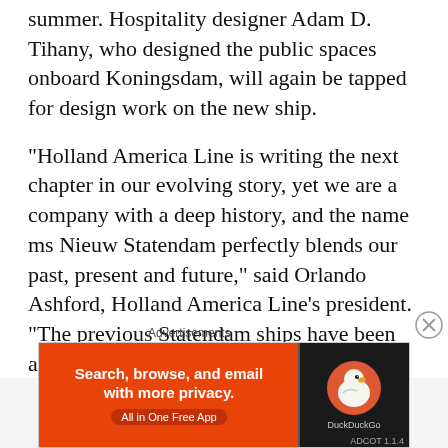summer. Hospitality designer Adam D. Tihany, who designed the public spaces onboard Koningsdam, will again be tapped for design work on the new ship.
“Holland America Line is writing the next chapter in our evolving story, yet we are a company with a deep history, and the name ms Nieuw Statendam perfectly blends our past, present and future,” said Orlando Ashford, Holland America Line’s president. “The previous Statendam ships have been among the most beloved in our history, and
Advertisements
[Figure (screenshot): DuckDuckGo advertisement banner: orange left section with text 'Search, browse, and email with more privacy. All in One Free App' and dark right section with DuckDuckGo duck logo.]